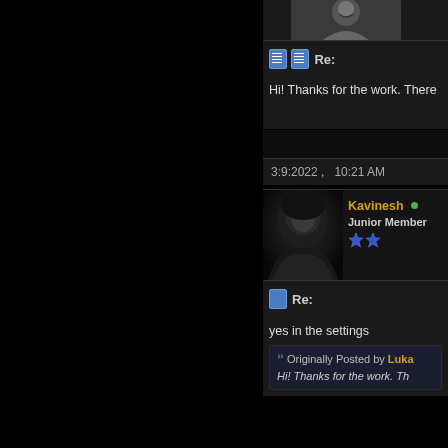[Figure (photo): Partial cropped photo visible at top right, showing a person smiling]
Re:
Hi! Thanks for the work. There
3:9:2022 ,   10:21 AM
[Figure (photo): Avatar silhouette of a person in a hoodie, dark moody image]
Kavinesh • Junior Member ★★
Re:
yes in the settings
Originally Posted by Luka
Hi! Thanks for the work. Th